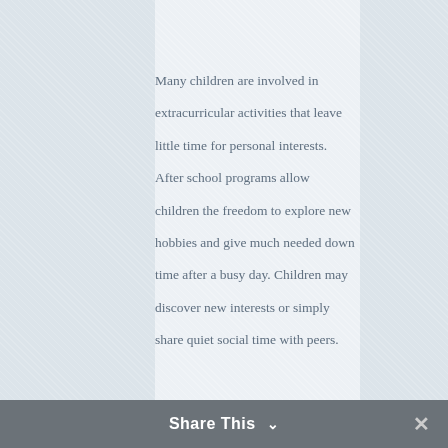Many children are involved in extracurricular activities that leave little time for personal interests. After school programs allow children the freedom to explore new hobbies and give much needed down time after a busy day. Children may discover new interests or simply share quiet social time with peers.
Parents looking for quality school age childcare should visit to see what an experienced and full service
Share This